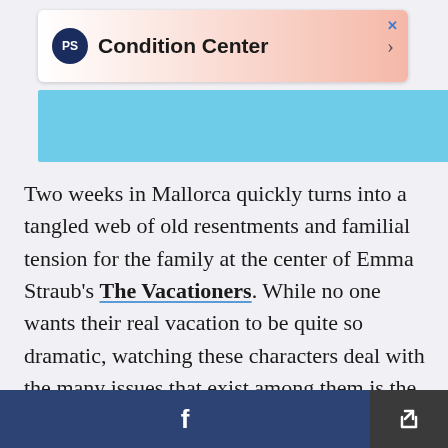[Figure (other): Advertisement banner for 'Condition Center' with PS logo, gradient background (white to pink/red), close X button, and right arrow chevron]
[Figure (other): Partial image strip with light blue/teal background, overlapping dark blue circle and red circle on right side]
Two weeks in Mallorca quickly turns into a tangled web of old resentments and familial tension for the family at the center of Emma Straub's The Vacationers. While no one wants their real vacation to be quite so dramatic, watching these characters deal with the many issues that exist among them is the dose of poolside therapy you didn't even know that you needed.
[Figure (other): Bottom navigation bar with dark blue Facebook button (f icon) and dark gray share/export button with arrow icon]